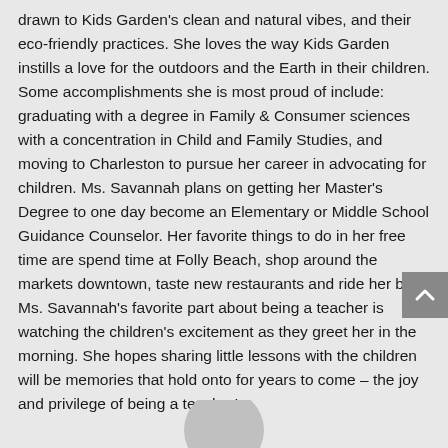drawn to Kids Garden's clean and natural vibes, and their eco-friendly practices. She loves the way Kids Garden instills a love for the outdoors and the Earth in their children. Some accomplishments she is most proud of include: graduating with a degree in Family & Consumer sciences with a concentration in Child and Family Studies, and moving to Charleston to pursue her career in advocating for children. Ms. Savannah plans on getting her Master's Degree to one day become an Elementary or Middle School Guidance Counselor. Her favorite things to do in her free time are spend time at Folly Beach, shop around the markets downtown, taste new restaurants and ride her bike! Ms. Savannah's favorite part about being a teacher is watching the children's excitement as they greet her in the morning. She hopes sharing little lessons with the children will be memories that hold onto for years to come – the joy and privilege of being a teacher!
[Figure (photo): Partial view of a circular portrait photo at the bottom center of the page, mostly cut off]